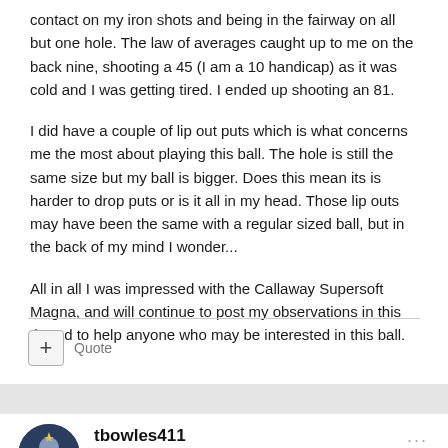contact on my iron shots and being in the fairway on all but one hole. The law of averages caught up to me on the back nine, shooting a 45 (I am a 10 handicap) as it was cold and I was getting tired. I ended up shooting an 81.
I did have a couple of lip out puts which is what concerns me the most about playing this ball. The hole is still the same size but my ball is bigger. Does this mean its is harder to drop puts or is it all in my head. Those lip outs may have been the same with a regular sized ball, but in the back of my mind I wonder...
All in all I was impressed with the Callaway Supersoft Magna, and will continue to post my observations in this thread to help anyone who may be interested in this ball.
+ Quote
tbowles411
Posted March 1, 2019